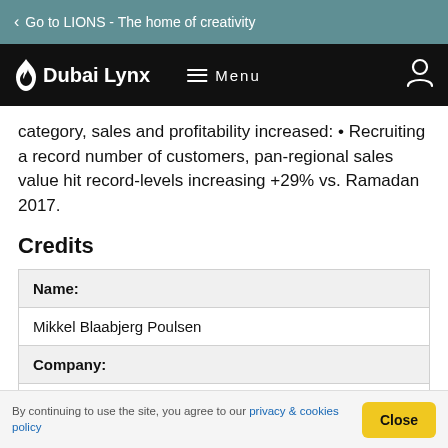Go to LIONS - The home of creativity
Dubai Lynx  Menu
category, sales and profitability increased: • Recruiting a record number of customers, pan-regional sales value hit record-levels increasing +29% vs. Ramadan 2017.
Credits
| Name: |
| --- |
| Mikkel Blaabjerg Poulsen |
| Company: |
| Octopuss.tv |
By continuing to use the site, you agree to our privacy & cookies policy